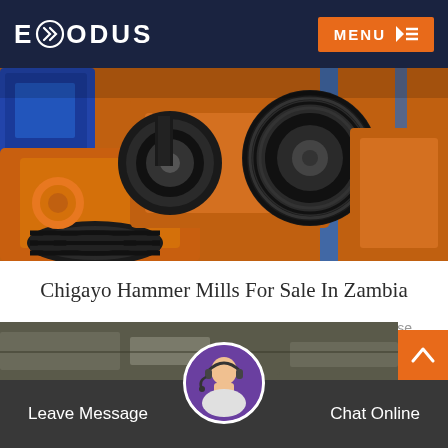EXODUS | MENU
[Figure (photo): Close-up photo of orange industrial hammer mill / crusher machine with black pulley wheels and belts, blue motor visible on left]
Chigayo Hammer Mills For Sale In Zambia
Vertical combination crusher is a kind of new fine and coarse crushing machine which is developed according to purified..
READ MORE
[Figure (photo): Partial view of industrial machinery at bottom of page]
Leave Message | Chat Online